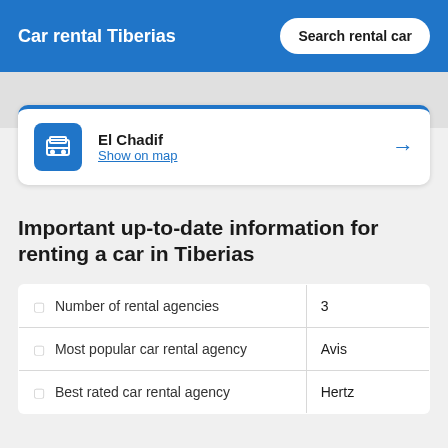Car rental Tiberias
Search rental car
El Chadif
Show on map
Important up-to-date information for renting a car in Tiberias
|  |  |
| --- | --- |
| ▢ Number of rental agencies | 3 |
| ▢ Most popular car rental agency | Avis |
| ▢ Best rated car rental agency | Hertz |